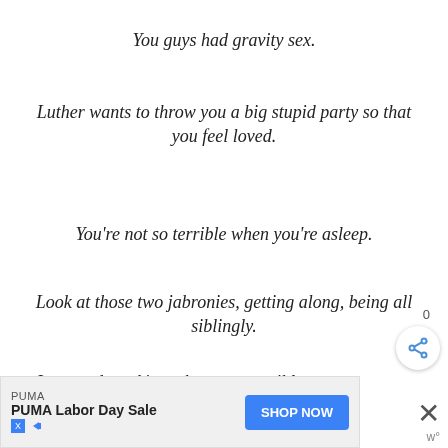You guys had gravity sex.
Luther wants to throw you a big stupid party so that you feel loved.
You're not so terrible when you're asleep.
Look at those two jabronies, getting along, being all siblingly.
I stopped tracking what was possible a long time ago.
[Figure (other): Share button with count 0 and social share icon]
[Figure (other): PUMA Labor Day Sale advertisement banner with SHOP NOW button and close X icon]